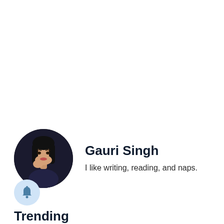[Figure (photo): Circular profile photo of a young woman with dark hair, resting her chin on her hand, against a dark background]
Gauri Singh
I like writing, reading, and naps.
[Figure (illustration): Light blue circular bell/notification icon]
Trending